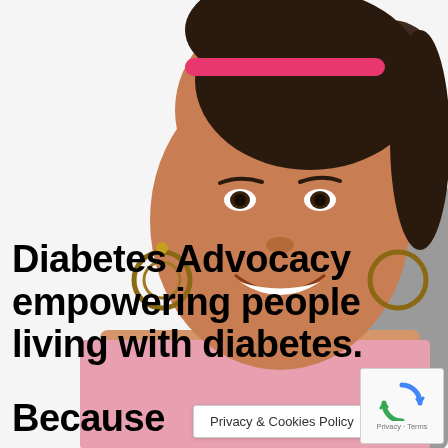[Figure (photo): A smiling young woman with a pink headband and large hoop earrings wearing a light pink shirt, with another person partially visible on the right side. White background.]
Diabetes Advocacy empowering people living with diabetes.
Because
Privacy & Cookies Policy